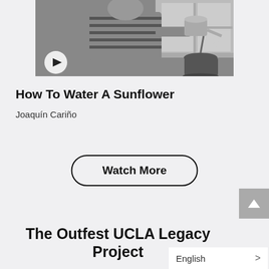[Figure (screenshot): Black and white video thumbnail showing a person in a striped shirt holding a watering can over a potted plant near a window, with a play button overlay in the lower left.]
How To Water A Sunflower
Joaquín Cariño
Watch More
The Outfest UCLA Legacy Project
English